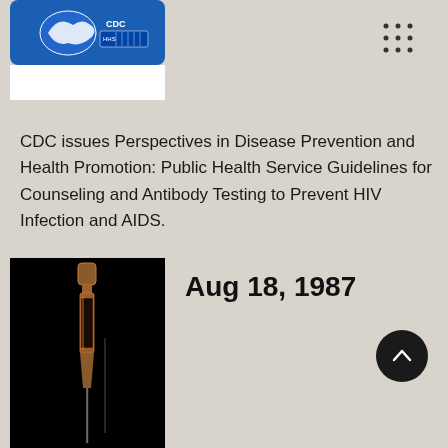[Figure (logo): CDC logo on blue rounded rectangle background with white area below]
CDC issues Perspectives in Disease Prevention and Health Promotion: Public Health Service Guidelines for Counseling and Antibody Testing to Prevent HIV Infection and AIDS.
[Figure (photo): Close-up photo of a syringe/needle on a dark black background with copper/metallic coloring]
Aug 18, 1987